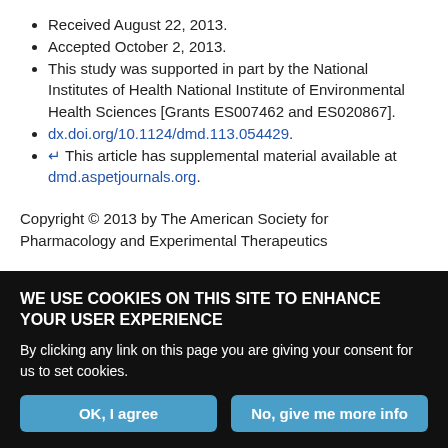Received August 22, 2013.
Accepted October 2, 2013.
This study was supported in part by the National Institutes of Health National Institute of Environmental Health Sciences [Grants ES007462 and ES020867].
dx.doi.org/10.1124/dmd.113.054429.
↵ This article has supplemental material available at dmd.aspetjournals.org.
Copyright © 2013 by The American Society for Pharmacology and Experimental Therapeutics
WE USE COOKIES ON THIS SITE TO ENHANCE YOUR USER EXPERIENCE
By clicking any link on this page you are giving your consent for us to set cookies.